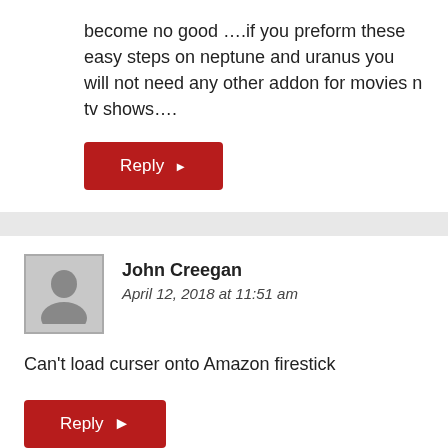become no good ….if you preform these easy steps on neptune and uranus you will not need any other addon for movies n tv shows….
Reply ▶
John Creegan
April 12, 2018 at 11:51 am
Can't load curser onto Amazon firestick
Reply ▶